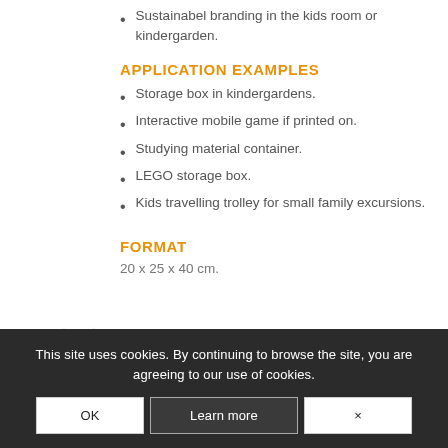Sustainabel branding in the kids room or kindergarden.
APPLICATION EXAMPLES
Storage box in kindergardens.
Interactive mobile game if printed on.
Studying material container.
LEGO storage box.
Kids travelling trolley for small family excursions.
FORMAT
20 x 25 x 40 cm.
This site uses cookies. By continuing to browse the site, you are agreeing to our use of cookies.